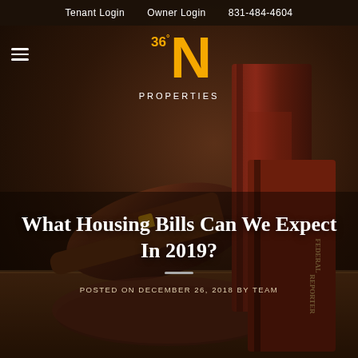Tenant Login   Owner Login   831-484-4604
[Figure (logo): 36°N Properties logo with large yellow N and degree symbol]
What Housing Bills Can We Expect In 2019?
POSTED ON DECEMBER 26, 2018 BY TEAM